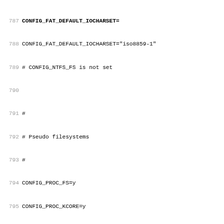787 CONFIG_FAT_DEFAULT_IOCHARSET (partial, bold/truncated at top)
788 CONFIG_FAT_DEFAULT_IOCHARSET="iso8859-1"
789 # CONFIG_NTFS_FS is not set
790
791 #
792 # Pseudo filesystems
793 #
794 CONFIG_PROC_FS=y
795 CONFIG_PROC_KCORE=y
796 CONFIG_SYSFS=y
797 # CONFIG_DEVPTS_FS_XATTR is not set
798 CONFIG_TMPFS=y
799 CONFIG_TMPFS_XATTR=y
800 # CONFIG_TMPFS_SECURITY is not set
801 CONFIG_HUGETLBFS=y
802 CONFIG_HUGETLB_PAGE=y
803 CONFIG_RAMFS=y
804
805 #
806 # Miscellaneous filesystems
807 #
808 # CONFIG_ADFS_FS is not set
809 # CONFIG_AFFS_FS is not set
810 # CONFIG_HFS_FS is not set
811 # CONFIG_HFSPLUS_FS is not set
812 # CONFIG_BEFS_FS is not set
813 # CONFIG_BFS_FS is not set
814 # CONFIG_EFS_FS is not set
815 # CONFIG_CRAMFS is not set
816 # CONFIG_VXFS_FS is not set
817 # CONFIG_HPFS_FS is not set
818 # CONFIG_QNX4FS_FS is not set
819 # CONFIG_SYSV_FS is not set